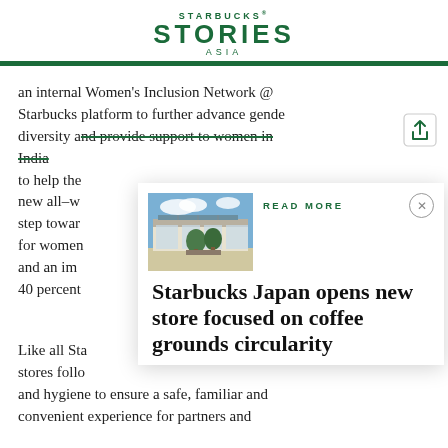STARBUCKS® STORIES ASIA
an internal Women's Inclusion Network @ Starbucks platform to further advance gender diversity and provide support to women in India to help them thrive. The company is launching a new all-women store in India as a landmark step towards making Starbucks a preferred brand for women partners and customers in India, and an important stride towards the company's 40 percent gender diversity target.
[Figure (photo): Starbucks store exterior with glass walls and trees]
READ MORE
Starbucks Japan opens new store focused on coffee grounds circularity
Like all Starbucks stores globally, all India stores follow strict protocols around safety and hygiene to ensure a safe, familiar and convenient experience for partners and